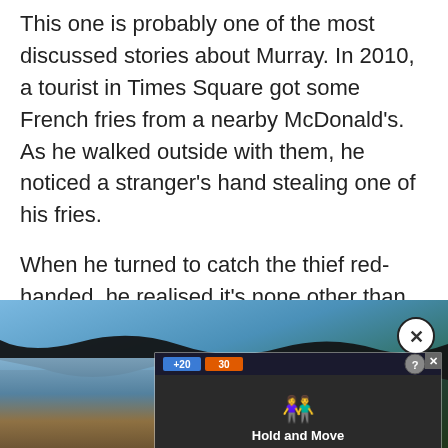This one is probably one of the most discussed stories about Murray. In 2010, a tourist in Times Square got some French fries from a nearby McDonald's. As he walked outside with them, he noticed a stranger's hand stealing one of his fries.
When he turned to catch the thief red-handed, he realised it's none other than Bill Murray. He recalled, "Before I could get a word out, he yelled over the crowd, 'No one will ever believe you.' He then cross to the other side of 7th avenue and disappeared into the crowd."
[Figure (screenshot): Bottom portion shows a blurred outdoor photo with blue sky and trees, overlaid with a wavy black shape. A circular close button (X) appears top right. An advertisement overlay shows a mobile game 'Hold and Move' with score display and game UI elements.]